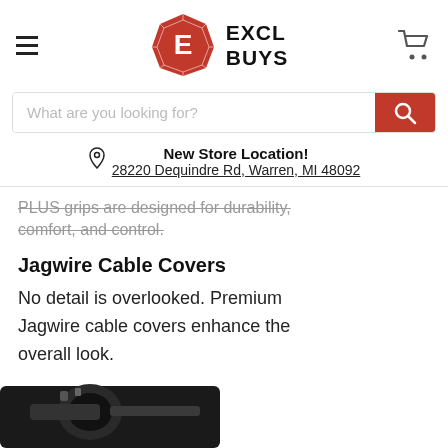[Figure (logo): ExclBuys logo with red polygon icon and text EXCL BUYS]
What are you looking for?
New Store Location! 28220 Dequindre Rd, Warren, MI 48092
PLUS grips are designed for durability, comfort, and control.
Jagwire Cable Covers
No detail is overlooked. Premium Jagwire cable covers enhance the overall look.
[Figure (photo): Partial photo of bicycle cable cover component at bottom of page]